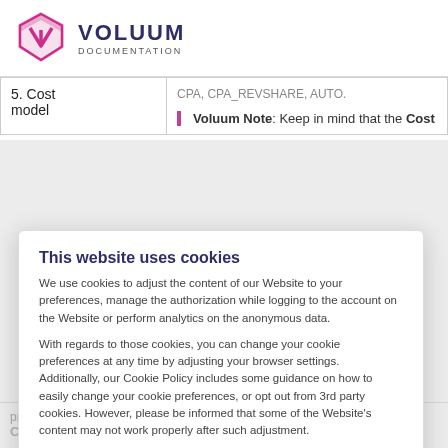[Figure (logo): Voluum Documentation logo: pink/purple hexagon shield icon with V shape inside, followed by bold dark navy text VOLUUM and smaller text DOCUMENTATION below]
| Field | Content |
| --- | --- |
| 5. Cost model | CPA, CPA_REVSHARE, AUTO.

Voluum Note: Keep in mind that the Cost |
This website uses cookies

We use cookies to adjust the content of our Website to your preferences, manage the authorization while logging to the account on the Website or perform analytics on the anonymous data.

With regards to those cookies, you can change your cookie preferences at any time by adjusting your browser settings. Additionally, our Cookie Policy includes some guidance on how to easily change your cookie preferences, or opt out from 3rd party cookies. However, please be informed that some of the Website's content may not work properly after such adjustment.

If you also give us your consent to use cookies for the purpose of personalizing content and ads as well as advertising, market research or analyzing behavior and preferences, with the purpose of improving the quality of services by results of such researches, please click the "I accept" button. On the basis of your consent, we will be able to provide
I ACCEPT   Not now
properly. Only required if the Cost model option is set to one of those: CPC, CPM, CPA,